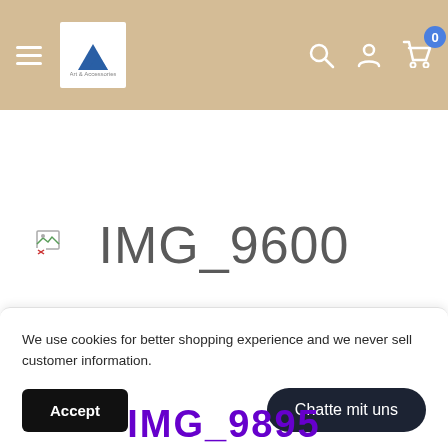Navigation bar with hamburger menu, logo, search, account, and cart icons
[Figure (screenshot): Broken image placeholder with text IMG_9600]
IMG_9600
We use cookies for better shopping experience and we never sell customer information.
Accept
Chatte mit uns
IMG_9895